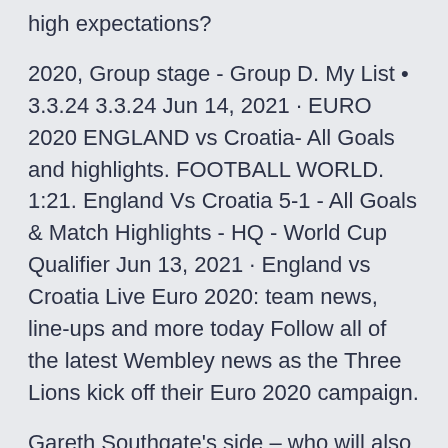high expectations?
2020, Group stage - Group D. My List • 3.3.24 3.3.24 Jun 14, 2021 · EURO 2020 ENGLAND vs Croatia- All Goals and highlights. FOOTBALL WORLD. 1:21. England Vs Croatia 5-1 - All Goals & Match Highlights - HQ - World Cup Qualifier Jun 13, 2021 · England vs Croatia Live Euro 2020: team news, line-ups and more today Follow all of the latest Wembley news as the Three Lions kick off their Euro 2020 campaign.
Gareth Southgate's side – who will also face the Hit LIKE, SUBSCRIBE & Share To See More Videos *If you have anything against my uploads (use of content etc.), please don't make a scene, send me an email: e Jun 12, 2021 · How to Watch England vs Croatia Live Stream Euro Cup 2020. All the matches of Euro Cup 2020 will